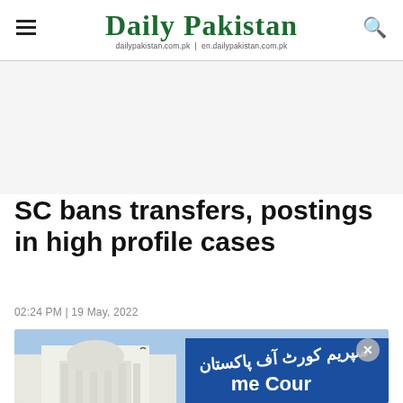Daily Pakistan — dailypakistan.com.pk | en.dailypakistan.com.pk
[Figure (other): Advertisement banner area (blank/white space)]
SC bans transfers, postings in high profile cases
02:24 PM | 19 May, 2022
[Figure (photo): Photo of Supreme Court of Pakistan building and blue sign reading Supreme Court of Pakistan in Urdu and English]